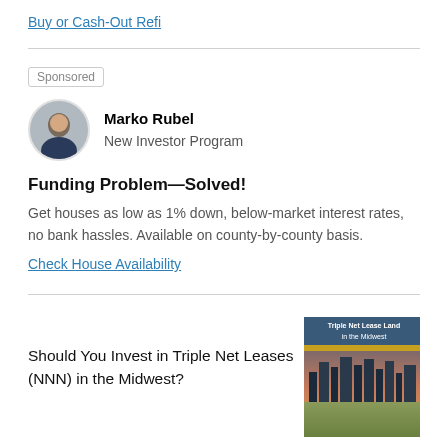Buy or Cash-Out Refi
Sponsored
[Figure (photo): Headshot of Marko Rubel, a man in a suit]
Marko Rubel
New Investor Program
Funding Problem—Solved!
Get houses as low as 1% down, below-market interest rates, no bank hassles. Available on county-by-county basis.
Check House Availability
[Figure (photo): Cover image of a report titled 'Triple Net Lease Land in the Midwest' showing a city skyline at dusk]
Should You Invest in Triple Net Leases (NNN) in the Midwest?